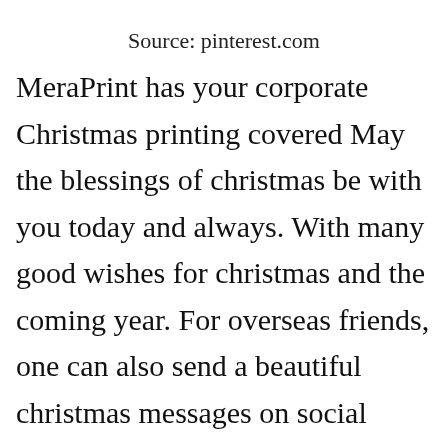Source: pinterest.com
MeraPrint has your corporate Christmas printing covered May the blessings of christmas be with you today and always. With many good wishes for christmas and the coming year. For overseas friends, one can also send a beautiful christmas messages on social networking sites like facebook and whatsapp with the wishes. Enjoy the fellowship of new friends, and cherish the company⓮f family in this